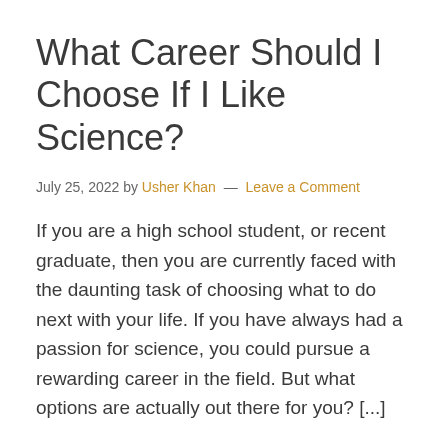What Career Should I Choose If I Like Science?
July 25, 2022 by Usher Khan — Leave a Comment
If you are a high school student, or recent graduate, then you are currently faced with the daunting task of choosing what to do next with your life. If you have always had a passion for science, you could pursue a rewarding career in the field. But what options are actually out there for you? [...]